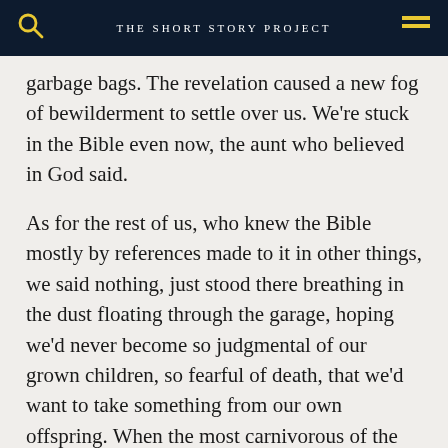THE SHORT STORY PROJECT
garbage bags. The revelation caused a new fog of bewilderment to settle over us. We're stuck in the Bible even now, the aunt who believed in God said.
As for the rest of us, who knew the Bible mostly by references made to it in other things, we said nothing, just stood there breathing in the dust floating through the garage, hoping we'd never become so judgmental of our grown children, so fearful of death, that we'd want to take something from our own offspring. When the most carnivorous of the uncles knelt to go through the bags, we did not know whether to object or say thank you.